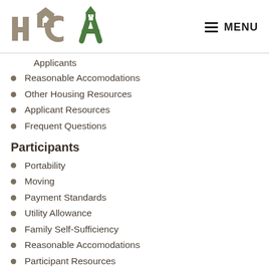[Figure (logo): HACA logo with stylized house letters in tan/brown and green colors]
Applicants
Reasonable Accomodations
Other Housing Resources
Applicant Resources
Frequent Questions
Participants
Portability
Moving
Payment Standards
Utility Allowance
Family Self-Sufficiency
Reasonable Accomodations
Participant Resources